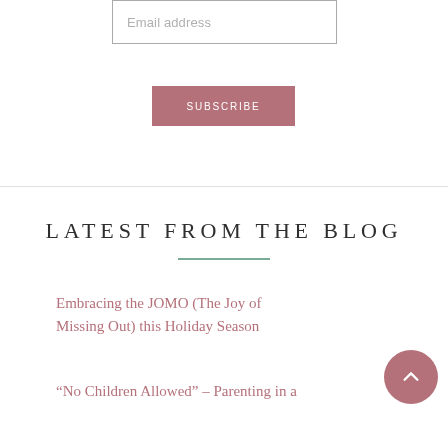Email address
SUBSCRIBE
LATEST FROM THE BLOG
Embracing the JOMO (The Joy of Missing Out) this Holiday Season
“No Children Allowed” – Parenting in a